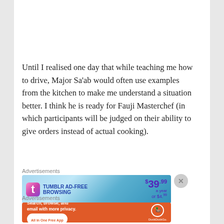[Figure (photo): Close-up photo of noodles being cooked in a dark pan, with a wooden spoon/spatula visible]
Until I realised one day that while teaching me how to drive, Major Sa'ab would often use examples from the kitchen to make me understand a situation better. I think he is ready for Fauji Masterchef (in which participants will be judged on their ability to give orders instead of actual cooking).
Advertisements
[Figure (screenshot): Tumblr Ad-Free Browsing advertisement banner: $39.99 a year or $4.99 a month]
Advertisements
[Figure (screenshot): DuckDuckGo advertisement: Search, browse, and email with more privacy. All in One Free App]